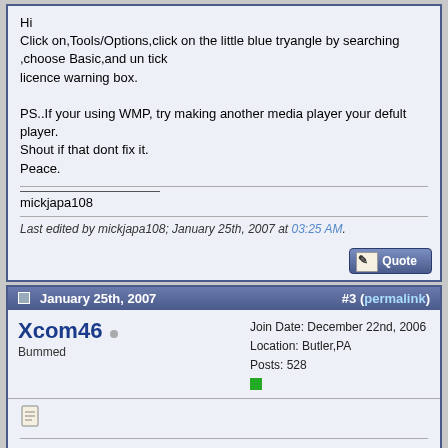Hi
Click on,Tools/Options,click on the little blue tryangle by searching ,choose Basic,and un tick licence warning box.

PS..If your using WMP, try making another media player your defult player.
Shout if that dont fix it.
Peace.
mickjapa108
Last edited by mickjapa108; January 25th, 2007 at 03:25 AM.
January 25th, 2007
#3 (permalink)
Xcom46
Bummed
Join Date: December 22nd, 2006
Location: Butler,PA
Posts: 528
Or you could try to update Wmp to 10 or 11 witch both work good but 11 is a bit kinda hard to use at first.